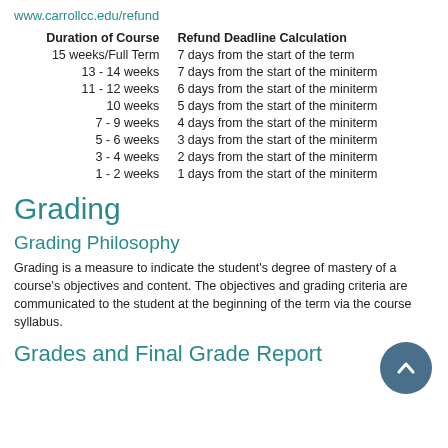www.carrollcc.edu/refund
| Duration of Course | Refund Deadline Calculation |
| --- | --- |
| 15 weeks/Full Term | 7 days from the start of the term |
| 13 - 14 weeks | 7 days from the start of the miniterm |
| 11 - 12 weeks | 6 days from the start of the miniterm |
| 10 weeks | 5 days from the start of the miniterm |
| 7 - 9 weeks | 4 days from the start of the miniterm |
| 5 - 6 weeks | 3 days from the start of the miniterm |
| 3 - 4 weeks | 2 days from the start of the miniterm |
| 1 - 2 weeks | 1 days from the start of the miniterm |
Grading
Grading Philosophy
Grading is a measure to indicate the student's degree of mastery of a course's objectives and content. The objectives and grading criteria are communicated to the student at the beginning of the term via the course syllabus.
Grades and Final Grade Report